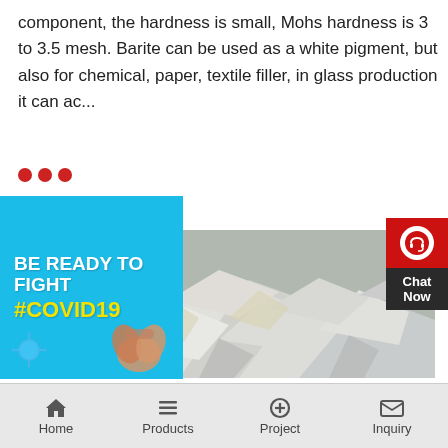component, the hardness is small, Mohs hardness is 3 to 3.5 mesh. Barite can be used as a white pigment, but also for chemical, paper, textile filler, in glass production it can ac...
[Figure (photo): COVID-19 awareness banner with text 'BE READY TO FIGHT #COVID19' on a cyan background with clasped hands illustration and virus graphic]
[Figure (photo): Photograph of white/grey barite mineral rocks piled together]
[Figure (other): Chat Now button widget with headset icon, red and dark background]
Home  Products  Project  Inquiry